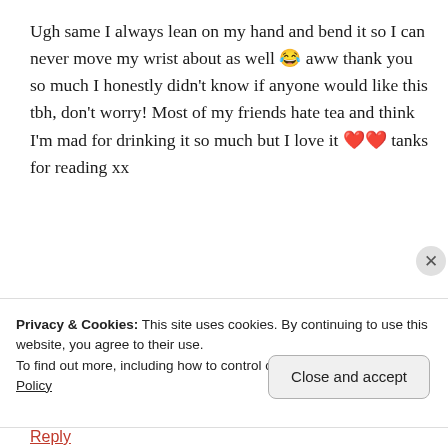Ugh same I always lean on my hand and bend it so I can never move my wrist about as well 😂 aww thank you so much I honestly didn't know if anyone would like this tbh, don't worry! Most of my friends hate tea and think I'm mad for drinking it so much but I love it ❤️❤️ tanks for reading xx
★ Like
Reply
Privacy & Cookies: This site uses cookies. By continuing to use this website, you agree to their use.
To find out more, including how to control cookies, see here: Cookie Policy
Close and accept